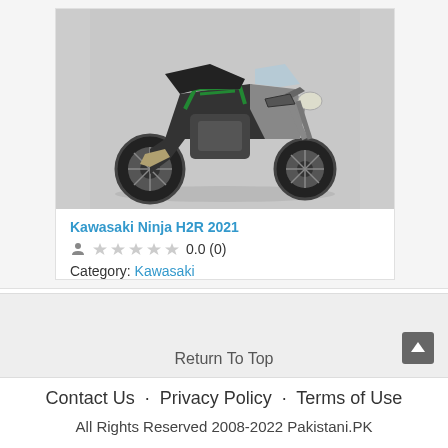[Figure (photo): Photo of a Kawasaki Ninja H2R 2021 motorcycle, black and green, side view]
Kawasaki Ninja H2R 2021
0.0 (0)
Category: Kawasaki
Return To Top
Contact Us · Privacy Policy · Terms of Use
All Rights Reserved 2008-2022 Pakistani.PK